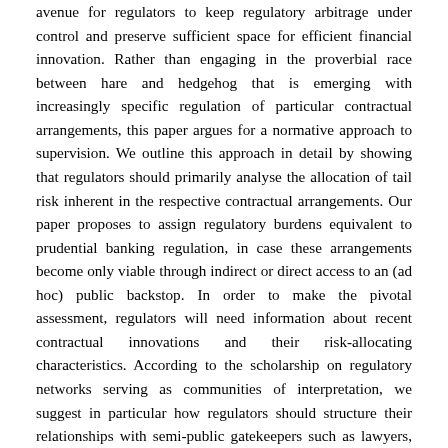avenue for regulators to keep regulatory arbitrage under control and preserve sufficient space for efficient financial innovation. Rather than engaging in the proverbial race between hare and hedgehog that is emerging with increasingly specific regulation of particular contractual arrangements, this paper argues for a normative approach to supervision. We outline this approach in detail by showing that regulators should primarily analyse the allocation of tail risk inherent in the respective contractual arrangements. Our paper proposes to assign regulatory burdens equivalent to prudential banking regulation, in case these arrangements become only viable through indirect or direct access to an (ad hoc) public backstop. In order to make the pivotal assessment, regulators will need information about recent contractual innovations and their risk-allocating characteristics. According to the scholarship on regulatory networks serving as communities of interpretation, we suggest in particular how regulators should structure their relationships with semi-public gatekeepers such as lawyers, auditors and consultants to keep abreast of the real-world implications of evolving transactional structures. This paper then uses the rise